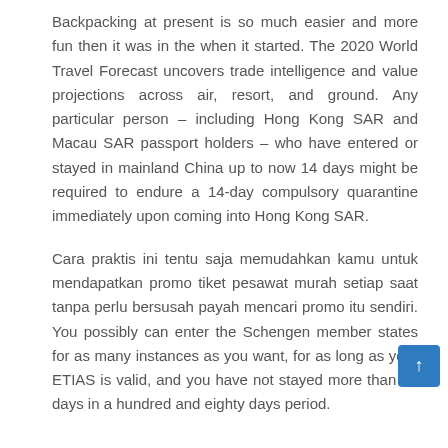Backpacking at present is so much easier and more fun then it was in the when it started. The 2020 World Travel Forecast uncovers trade intelligence and value projections across air, resort, and ground. Any particular person – including Hong Kong SAR and Macau SAR passport holders – who have entered or stayed in mainland China up to now 14 days might be required to endure a 14-day compulsory quarantine immediately upon coming into Hong Kong SAR.
Cara praktis ini tentu saja memudahkan kamu untuk mendapatkan promo tiket pesawat murah setiap saat tanpa perlu bersusah payah mencari promo itu sendiri. You possibly can enter the Schengen member states for as many instances as you want, for as long as your ETIAS is valid, and you have not stayed more than 90 days in a hundred and eighty days period.